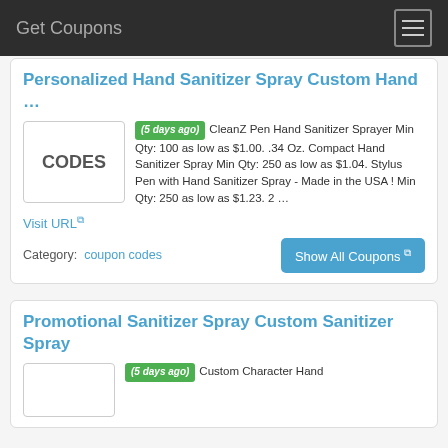Get Coupons
Personalized Hand Sanitizer Spray Custom Hand …
(5 days ago) CleanZ Pen Hand Sanitizer Sprayer Min Qty: 100 as low as $1.00. .34 Oz. Compact Hand Sanitizer Spray Min Qty: 250 as low as $1.04. Stylus Pen with Hand Sanitizer Spray - Made in the USA ! Min Qty: 250 as low as $1.23. 2 …
Visit URL
Category: coupon codes
Show All Coupons
Promotional Sanitizer Spray Custom Sanitizer Spray
(5 days ago) Custom Character Hand